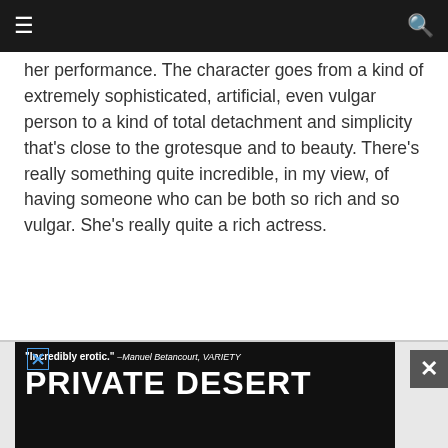☰  🔍
her performance. The character goes from a kind of extremely sophisticated, artificial, even vulgar person to a kind of total detachment and simplicity that's close to the grotesque and to beauty. There's really something quite incredible, in my view, of having someone who can be both so rich and so vulgar. She's really quite a rich actress.
[Figure (other): Advertisement banner: '"Incredibly erotic." –Manuel Betancourt, VARIETY' with large text 'PRIVATE DESERT' and a photo of a person, with close and X buttons.]